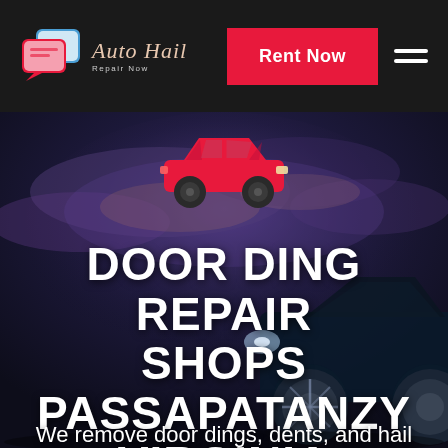[Figure (logo): Auto Hail Repair Now logo with two overlapping chat bubble icons in red/blue/white and italic script text 'Auto Hail' with tagline 'Repair Now']
Rent Now
[Figure (illustration): Red car silhouette icon centered on dark blue/purple cloudy night sky background with a dark luxury car visible on the right side]
DOOR DING REPAIR SHOPS PASSAPATANZY VIRGINIA
We remove door dings, dents, and hail